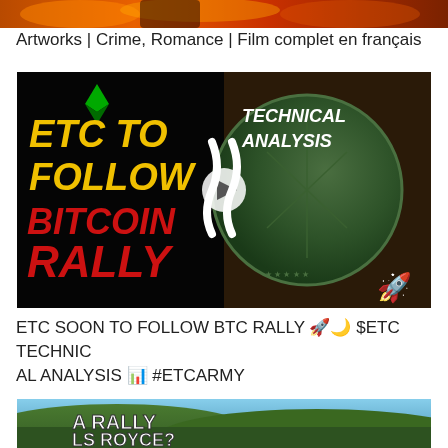[Figure (screenshot): Top strip of a video thumbnail showing orange/red flames and a figure]
Artworks | Crime, Romance | Film complet en français
[Figure (screenshot): Video thumbnail with black background on left showing 'ETC TO FOLLOW BITCOIN RALLY' text in yellow and red with Ethereum logo, and green euro coin on right with 'TECHNICAL ANALYSIS' text and rocket emoji]
ETC SOON TO FOLLOW BTC RALLY 🚀🌙 $ETC TECHNICAL ANALYSIS 📊 #ETCARMY
[Figure (screenshot): Bottom partial video thumbnail showing 'A RALLY LS ROYCE?' text over a landscape with trees]